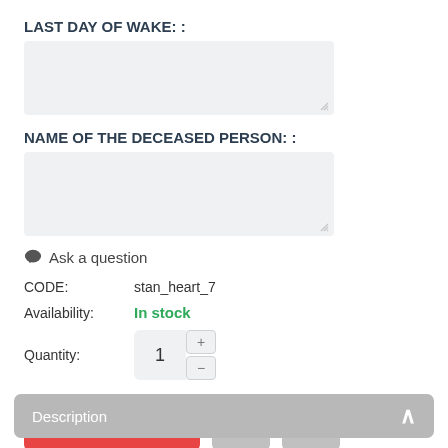LAST DAY OF WAKE: :
(textarea field)
NAME OF THE DECEASED PERSON: :
(textarea field)
💬 Ask a question
CODE: stan_heart_7
Availability: In stock
Quantity: 1
Add to cart
Description